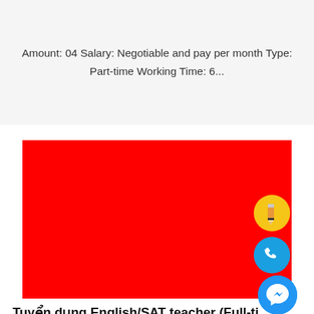Amount: 04 Salary: Negotiable and pay per month Type: Part-time Working Time: 6...
[Figure (photo): Large solid red rectangle, likely a job listing banner/image with a pencil edit icon and phone icon overlaid in the bottom right corner.]
Tuyển dụng English/SAT teacher (Full-ti...
Amount: 04 Salary: Negotiable and pay per month Type: Full-time Working Time: 6...